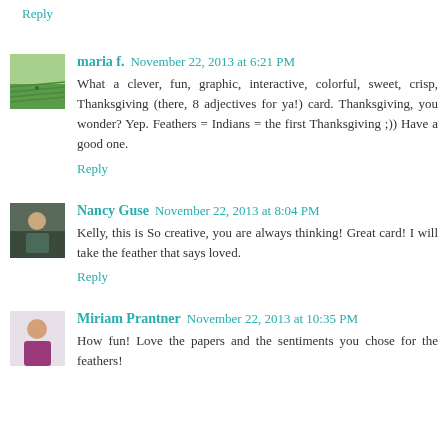Reply
maria f.  November 22, 2013 at 6:21 PM
What a clever, fun, graphic, interactive, colorful, sweet, crisp, Thanksgiving (there, 8 adjectives for ya!) card. Thanksgiving, you wonder? Yep. Feathers = Indians = the first Thanksgiving ;)) Have a good one.
Reply
Nancy Guse  November 22, 2013 at 8:04 PM
Kelly, this is So creative, you are always thinking! Great card! I will take the feather that says loved.
Reply
Miriam Prantner  November 22, 2013 at 10:35 PM
How fun! Love the papers and the sentiments you chose for the feathers!